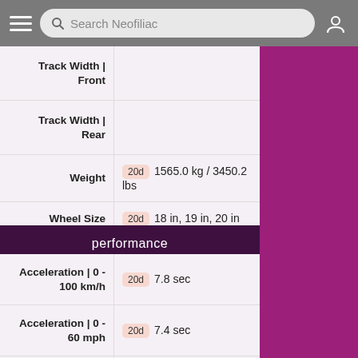Search Neofiliac
| Attribute | Value |
| --- | --- |
| Track Width | Front |  |
| Track Width | Rear |  |
| Weight | 20d  1565.0 kg / 3450.2 lbs |
| Wheel Size | 20d  18 in, 19 in, 20 in |
| Wheelbase | 2835 mm / 111.6 in |
performance
| Attribute | Value |
| --- | --- |
| Acceleration | 0 - 100 km/h | 20d  7.8 sec |
| Acceleration | 0 - 60 mph | 20d  7.4 sec |
| CO2 Emission | 20d  109 ~ 111 g/km |
| Coefficient Of Drag | 20d  0.26 |